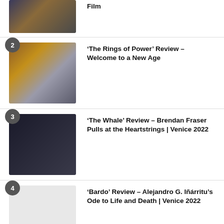[Figure (photo): Film still thumbnail (partial, top cropped) with number badge 1]
Film
[Figure (photo): The Rings of Power film still with armored female character, number badge 2]
‘The Rings of Power’ Review – Welcome to a New Age
[Figure (photo): The Whale film still with male character in dark setting, number badge 3]
‘The Whale’ Review – Brendan Fraser Pulls at the Heartstrings | Venice 2022
[Figure (photo): Bardo film placeholder image, number badge 4]
‘Bardo’ Review – Alejandro G. Iñárritu’s Ode to Life and Death | Venice 2022